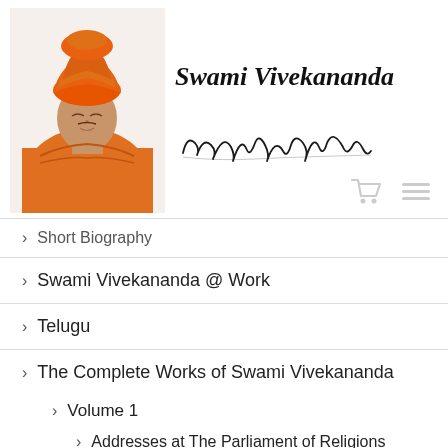[Figure (photo): Portrait of Swami Vivekananda wearing an orange robe and orange turban, eyes closed, in a meditative or serene pose]
Swami Vivekananda
[Figure (illustration): Handwritten signature of Swami Vivekananda in cursive script]
Short Biography
Swami Vivekananda @ Work
Telugu
The Complete Works of Swami Vivekananda
Volume 1
Addresses at The Parliament of Religions